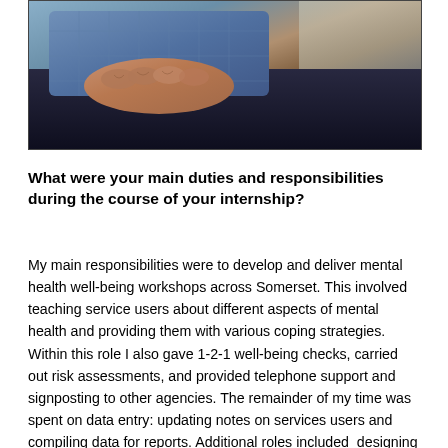[Figure (photo): Close-up photograph of an elderly person sitting, showing their hands clasped together resting on dark trousers, wearing a blue checked shirt.]
What were your main duties and responsibilities during the course of your internship?
My main responsibilities were to develop and deliver mental health well-being workshops across Somerset. This involved teaching service users about different aspects of mental health and providing them with various coping strategies. Within this role I also gave 1-2-1 well-being checks, carried out risk assessments, and provided telephone support and signposting to other agencies. The remainder of my time was spent on data entry: updating notes on services users and compiling data for reports. Additional roles included designing my own session plan using research from third generation therapies, and